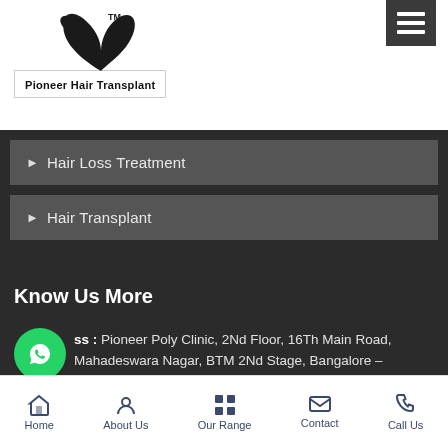[Figure (logo): Pioneer Hair Transplant logo with bird/hair wing graphic and brand name]
Hair Loss Treatment
Hair Transplant
Know Us More
Address : Pioneer Poly Clinic, 2Nd Floor, 16Th Main Road, Mahadeswara Nagar, BTM 2Nd Stage, Bangalore - ... Landmark - Above
Mobile : +91-9972576663
Get Consultation
Home | About Us | Our Range | Contact | Call Us